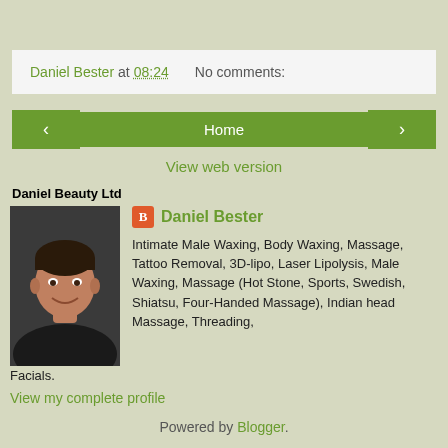Daniel Bester at 08:24    No comments:
‹   Home   ›
View web version
Daniel Beauty Ltd
[Figure (photo): Profile photo of Daniel Bester, a man smiling, wearing a dark jacket]
Daniel Bester
Intimate Male Waxing, Body Waxing, Massage, Tattoo Removal, 3D-lipo, Laser Lipolysis, Male Waxing, Massage (Hot Stone, Sports, Swedish, Shiatsu, Four-Handed Massage), Indian head Massage, Threading, Facials.
View my complete profile
Powered by Blogger.